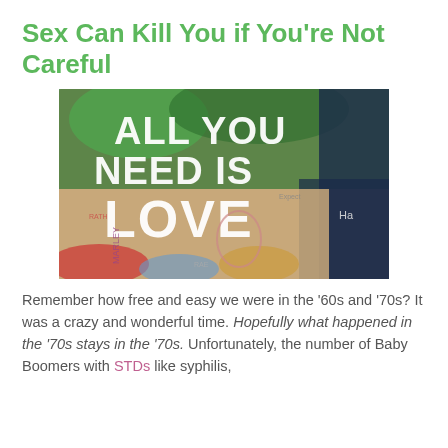Sex Can Kill You if You're Not Careful
[Figure (photo): Graffiti wall with large white text reading 'ALL YOU NEED IS LOVE' on a colorful painted surface with various stickers and writings]
Remember how free and easy we were in the ‘60s and ‘70s? It was a crazy and wonderful time. Hopefully what happened in the ‘70s stays in the ‘70s. Unfortunately, the number of Baby Boomers with STDs like syphilis,